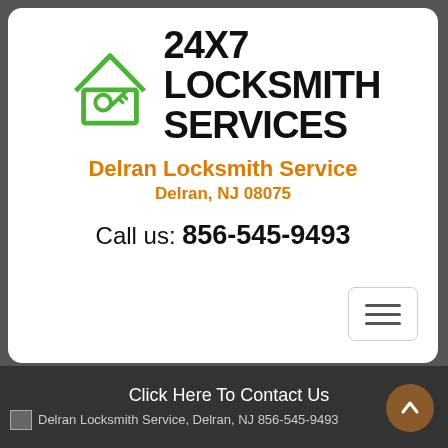[Figure (logo): 24X7 Locksmith Services logo with green house icon containing a key]
Delran Locksmith Service
Delran, NJ 08075
Call us: 856-545-9493
[Figure (other): Hamburger menu button]
Click Here To Contact Us
Delran Locksmith Service, Delran, NJ 856-545-9493